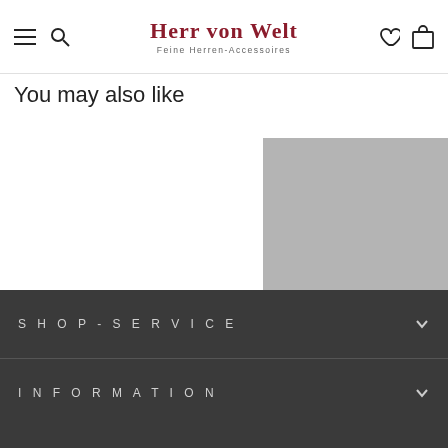Herr von Welt – Feine Herren-Accessoires
You may also like
[Figure (photo): Product image placeholder (grey rectangle) for Handkerchief No. item]
Handkerchief No.
PELLENS & LO
€34,00
SHOP-SERVICE
INFORMATION